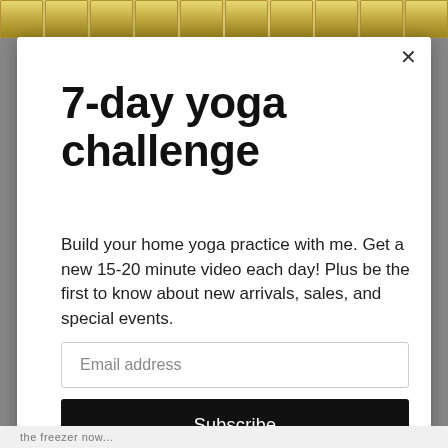[Figure (photo): Photo strip at top showing yellow/gold cups or similar food items in a row]
7-day yoga challenge
Build your home yoga practice with me. Get a new 15-20 minute video each day! Plus be the first to know about new arrivals, sales, and special events.
Email address
Subscribe
the freezer now...